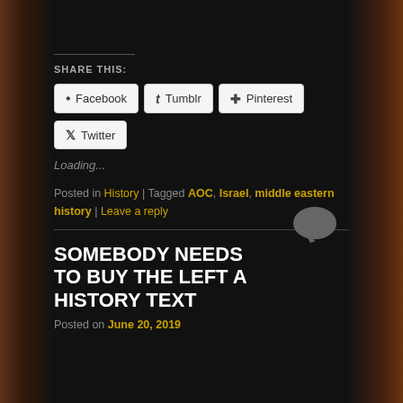SHARE THIS:
Facebook  Tumblr  Pinterest  Twitter
Loading...
Posted in History | Tagged AOC, Israel, middle eastern history | Leave a reply
SOMEBODY NEEDS TO BUY THE LEFT A HISTORY TEXT
Posted on June 20, 2019